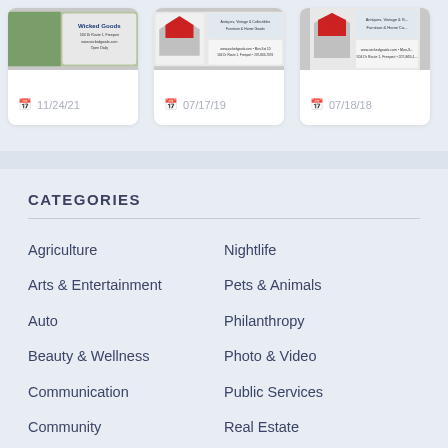[Figure (screenshot): Three card thumbnails showing advertisement images with dates 11/24/21, 07/17/19, 07/18/18]
CATEGORIES
Agriculture
Nightlife
Arts & Entertainment
Pets & Animals
Auto
Philanthropy
Beauty & Wellness
Photo & Video
Communication
Public Services
Community
Real Estate